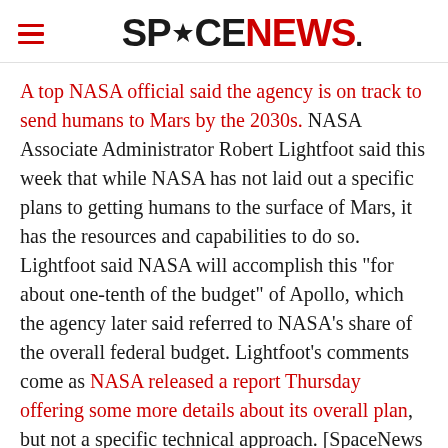SPACENEWS
A top NASA official said the agency is on track to send humans to Mars by the 2030s. NASA Associate Administrator Robert Lightfoot said this week that while NASA has not laid out a specific plans to getting humans to the surface of Mars, it has the resources and capabilities to do so. Lightfoot said NASA will accomplish this "for about one-tenth of the budget" of Apollo, which the agency later said referred to NASA's share of the overall federal budget. Lightfoot's comments come as NASA released a report Thursday offering some more details about its overall plan, but not a specific technical approach. [SpaceNews / NASA]